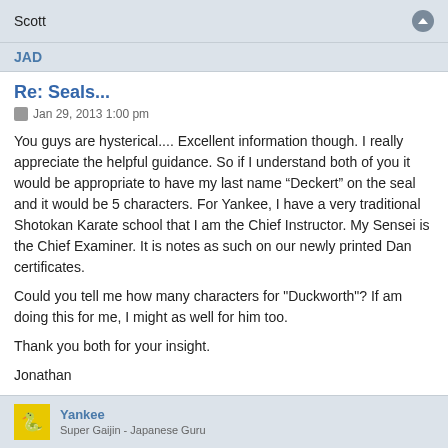Scott
JAD
Re: Seals...
Jan 29, 2013 1:00 pm
You guys are hysterical.... Excellent information though. I really appreciate the helpful guidance. So if I understand both of you it would be appropriate to have my last name “Deckert” on the seal and it would be 5 characters. For Yankee, I have a very traditional Shotokan Karate school that I am the Chief Instructor. My Sensei is the Chief Examiner. It is notes as such on our newly printed Dan certificates.
Could you tell me how many characters for "Duckworth"? If am doing this for me, I might as well for him too.
Thank you both for your insight.
Jonathan
Yankee
Super Gaijin - Japanese Guru